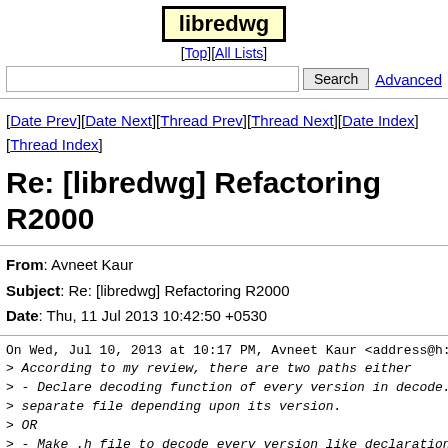[Figure (logo): libredwg logo in a box with yellow background]
[Top][All Lists]
Search  Advanced
[Date Prev][Date Next][Thread Prev][Thread Next][Date Index][Thread Index]
Re: [libredwg] Refactoring R2000
From: Avneet Kaur
Subject: Re: [libredwg] Refactoring R2000
Date: Thu, 11 Jul 2013 10:42:50 +0530
On Wed, Jul 10, 2013 at 10:17 PM, Avneet Kaur <address@h:
> According to my review, there are two paths either
> - Declare decoding function of every version in decode.
>   separate file depending upon its version.
> OR
> - Make .h file to decode every version like declaration
>   will be in decode_r2000.h file and definition in deco
>   calling from decode.c file by dwg_decode_data().